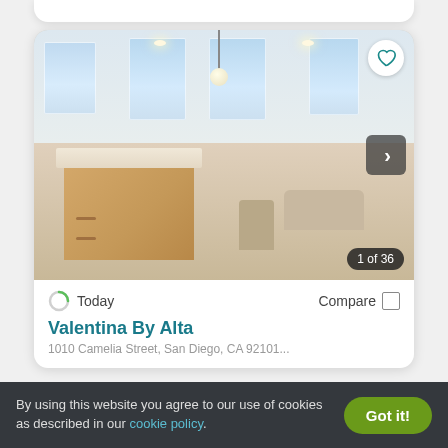[Figure (photo): Interior photo of a modern apartment showing a kitchen island with wood cabinetry, wine bottle, tray, and open-plan living area with large windows, chairs, and sofa. Badge shows '1 of 36'.]
Today
Compare
Valentina By Alta
By using this website you agree to our use of cookies as described in our cookie policy.